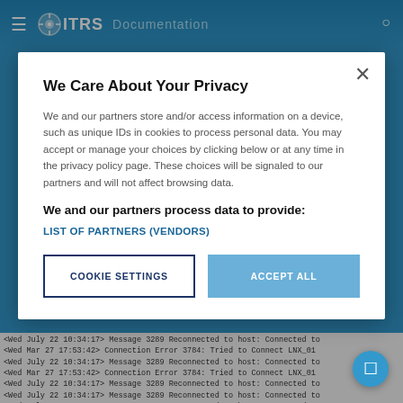ITRS Documentation
We Care About Your Privacy
We and our partners store and/or access information on a device, such as unique IDs in cookies to process personal data. You may accept or manage your choices by clicking below or at any time in the privacy policy page. These choices will be signaled to our partners and will not affect browsing data.
We and our partners process data to provide:
LIST OF PARTNERS (VENDORS)
COOKIE SETTINGS
ACCEPT ALL
<Wed July 22 10:34:17> Message 3289 Reconnected to host: Connected to
<Wed Mar 27 17:53:42> Connection Error 3784: Tried to Connect LNX_01
<Wed July 22 10:34:17> Message 3289 Reconnected to host: Connected to
<Wed Mar 27 17:53:42> Connection Error 3784: Tried to Connect LNX_01
<Wed July 22 10:34:17> Message 3289 Reconnected to host: Connected to
<Wed July 22 10:34:17> Message 3289 Reconnected to host: Connected to
<Wed July 22 10:34:17> Message 3289 Reconnected to host: Connected to
<Wed Mar 27 17:53:42> Connection Error 2859: Tried to Connect
<Wed Mar 27 17:53:42> Connection Error 3784: Tried to Connect
<Wed Mar 27 17:53:42> Connection Error 2859: Tried to Connect LNX_01
<Wed Mar 27 17:53:42> Connection Error 3874: Tried to Connect LNX_01